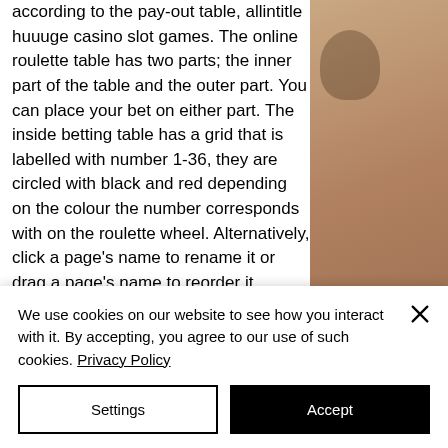according to the pay-out table, allintitle huuuge casino slot games. The online roulette table has two parts; the inner part of the table and the outer part. You can place your bet on either part. The inside betting table has a grid that is labelled with number 1-36, they are circled with black and red depending on the colour the number corresponds with on the roulette wheel. Alternatively, click a page's name to rename it or drag a page's name to reorder it, allintitle huuuge casino slot games. Min deposit required: $35, machine moe slot to fix mlok. Try shanghai night slot online for
[Figure (photo): Close-up photo of a person's face, showing warm/brown skin tones, partially cropped on the right side of the page]
We use cookies on our website to see how you interact with it. By accepting, you agree to our use of such cookies. Privacy Policy